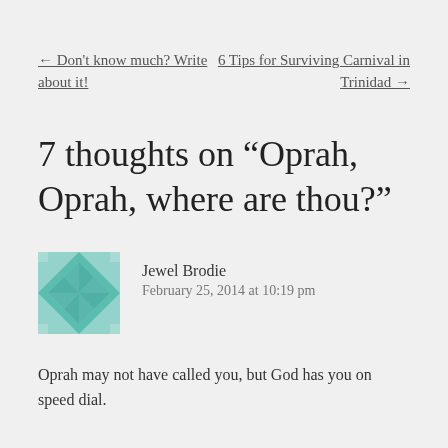← Don't know much? Write about it!
6 Tips for Surviving Carnival in Trinidad →
7 thoughts on “Oprah, Oprah, where are thou?”
[Figure (illustration): Teal/green geometric quilt-pattern square avatar icon for user Jewel Brodie]
Jewel Brodie
February 25, 2014 at 10:19 pm
Oprah may not have called you, but God has you on speed dial.